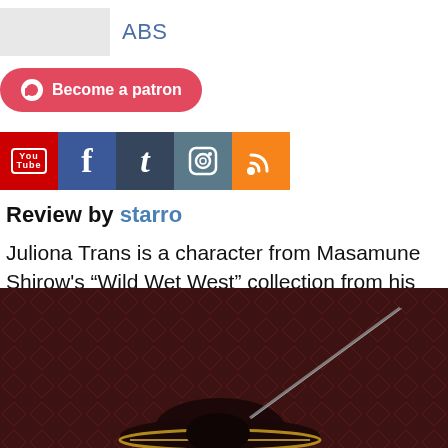ABS
[Figure (logo): Patreon become a patron button — red pill-shaped button with white circle icon and text 'Become a patron']
[Figure (infographic): Row of social media icons: YouTube (red), Facebook (blue), Tumblr (dark blue), Instagram (teal/gray), RSS (orange)]
Review by starro
Juliona Trans is a character from Masamune Shirow’s “Wild Wet West” collection from his hardcore cheesecake portfolio Galgrease 001.
[Figure (photo): Dark red/maroon background with decorative diamond pattern, showing a figure/figurine wearing a wide-brimmed hat with gold trim detail at bottom edge, and what appears to be a long thin object (possibly a weapon) extending to the upper right.]